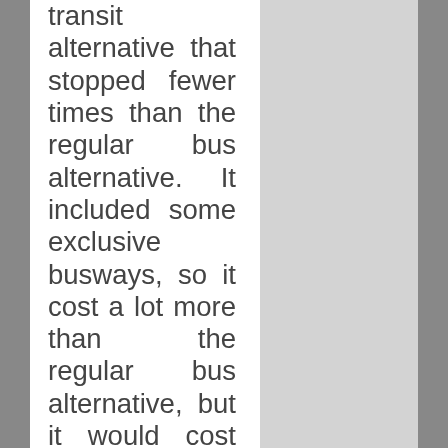transit alternative that stopped fewer times than the regular bus alternative. It included some exclusive busways, so it cost a lot more than the regular bus alternative, but it would cost only half as